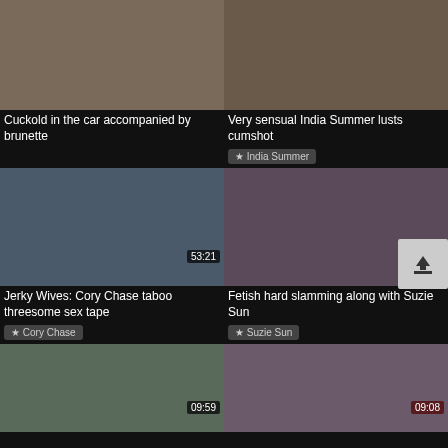[Figure (photo): Video thumbnail 1 - top left]
Cuckold in the car accompanied by brunette
[Figure (photo): Video thumbnail 2 - top right]
Very sensual India Summer lusts cumshot
★ India Summer
[Figure (photo): Video thumbnail 3 - middle left, duration 53:21]
Jerky Wives: Cory Chase taboo threesome sex tape
★ Cory Chase
[Figure (photo): Video thumbnail 4 - middle right, duration 08:03]
Fetish hard slamming along with Suzie Sun
★ Suzie Sun
[Figure (photo): Video thumbnail 5 - bottom left, duration 09:59]
[Figure (photo): Video thumbnail 6 - bottom right, duration 09:08]